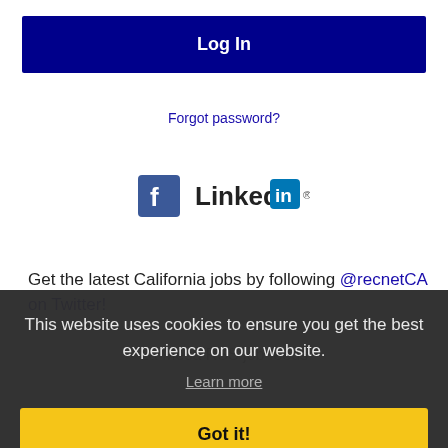Log In
Forgot password?
[Figure (logo): Facebook and LinkedIn social media icons/logos]
Get the latest California jobs by following @recnetCA on Twitter!
La Mesa RSS job feeds
This website uses cookies to ensure you get the best experience on our website.
Learn more
Got it!
JOB SEEKERS
Search La Mesa jobs